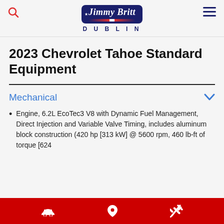Jimmy Britt Dublin
2023 Chevrolet Tahoe Standard Equipment
Mechanical
Engine, 6.2L EcoTec3 V8 with Dynamic Fuel Management, Direct Injection and Variable Valve Timing, includes aluminum block construction (420 hp [313 kW] @ 5600 rpm, 460 lb-ft of torque [624
Car | Location | Service